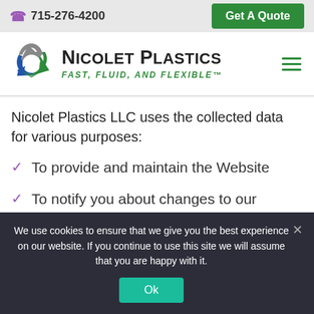715-276-4200   Get A Quote
[Figure (logo): Nicolet Plastics recycling arrow logo with three colored arrows (gray, green, blue) forming a triangle. Company name: NICOLET PLASTICS. Tagline: FAST, FLUID, AND FLEXIBLE™]
Nicolet Plastics LLC uses the collected data for various purposes:
To provide and maintain the Website
To notify you about changes to our
We use cookies to ensure that we give you the best experience on our website. If you continue to use this site we will assume that you are happy with it.
Ok